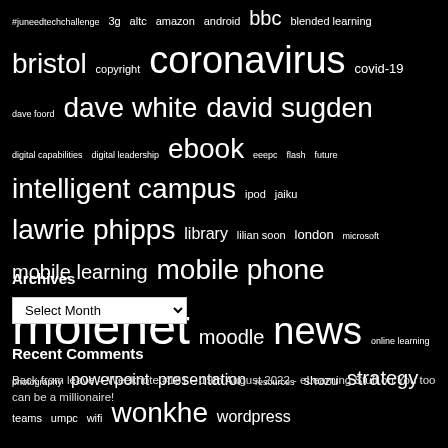[Figure (infographic): Tag cloud on black background with various terms in different font sizes. Largest terms: molenet, coronavirus, news, mobile phone. Medium terms: bristol, dave white, david sugden, ebook, intelligent campus, lawrie phipps, mobile learning, moodle, strategy, wonkhe, wordpress. Smaller terms include: #juneedtechchallenge, 3g, altc, amazon, android, bbc, blended learning, copyright, covid-19, dave foord, digital capabilities, digital leadership, eeepc, flash, future, ipod, jaiku, library, lilian soon, london, microsoft, online learning, photography, powerpoint, presentation, resources, shozu, teams, umpc, wifi.]
Archives
Select Month
Recent Comments
Back from leave – Weeknote #181 – 19th August 2022 - eLearning Stuff on You too can be a millionaire!